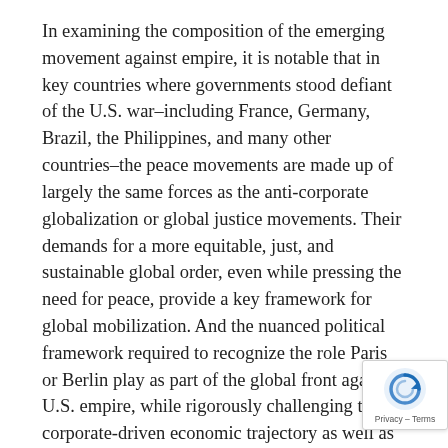In examining the composition of the emerging movement against empire, it is notable that in key countries where governments stood defiant of the U.S. war–including France, Germany, Brazil, the Philippines, and many other countries–the peace movements are made up of largely the same forces as the anti-corporate globalization or global justice movements. Their demands for a more equitable, just, and sustainable global order, even while pressing the need for peace, provide a key framework for global mobilization. And the nuanced political framework required to recognize the role Paris or Berlin play as part of the global front against U.S. empire, while rigorously challenging their corporate-driven economic trajectory as well as other domestic and foreign policies, is beginning to take shape.
We are engaged now in building a global